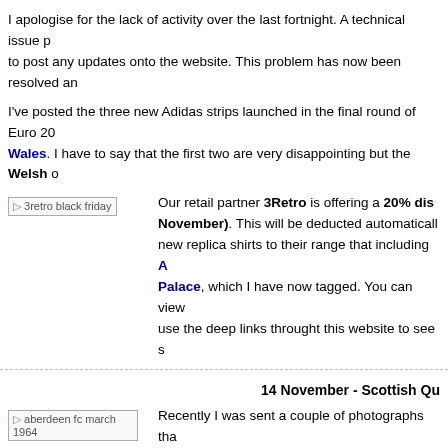I apologise for the lack of activity over the last fortnight. A technical issue p... to post any updates onto the website. This problem has now been resolved an...
I've posted the three new Adidas strips launched in the final round of Euro 20... Wales. I have to say that the first two are very disappointing but the Welsh o...
[Figure (photo): 3retro black friday promotional image]
Our retail partner 3Retro is offering a 20% dis... November). This will be deducted automaticall... new replica shirts to their range that including A... Palace, which I have now tagged. You can view... use the deep links throught this website to see s...
14 November - Scottish Qu...
[Figure (photo): aberdeen fc march 1964 photograph]
Recently I was sent a couple of photographs tha... first is of the Aberdeen team in an unrecorded... this was worn at Motherwell in March 1964.
More problematic is this photograph of a Caled... recently published on the club's Facebook page... the 1995-96 shirt supplied by Le Coq Sportif b... Matchwinner logo (Matchwinner made their 1... different shirt sponsor. Xerox is listed as a sponsor in 1996 on the club's Wiki...